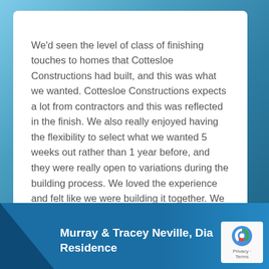We'd seen the level of class of finishing touches to homes that Cottesloe Constructions had built, and this was what we wanted. Cottesloe Constructions expects a lot from contractors and this was reflected in the finish. We also really enjoyed having the flexibility to select what we wanted 5 weeks out rather than 1 year before, and they were really open to variations during the building process. We loved the experience and felt like we were building it together. We wouldn't hesitate to build again with Cottesloe Constructions.
Murray & Tracey Neville, Dia Residence